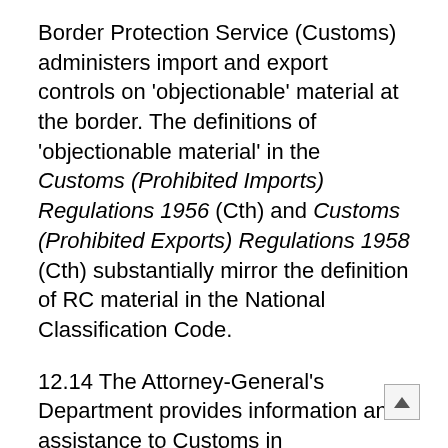Border Protection Service (Customs) administers import and export controls on 'objectionable' material at the border. The definitions of 'objectionable material' in the Customs (Prohibited Imports) Regulations 1956 (Cth) and Customs (Prohibited Exports) Regulations 1958 (Cth) substantially mirror the definition of RC material in the National Classification Code.
12.14 The Attorney-General's Department provides information and assistance to Customs in